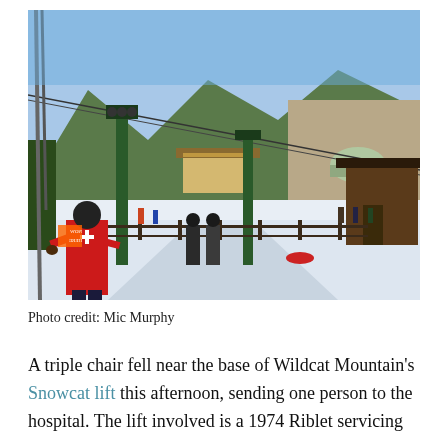[Figure (photo): A ski patrol member in a red jacket with a white cross stands at the base of Wildcat Mountain's Snowcat lift. Green lift towers and cables are visible, with snow-covered ground. Other people stand in the area. A mountain with bare trees and blue sky is in the background. A brown wooden structure is on the right.]
Photo credit: Mic Murphy
A triple chair fell near the base of Wildcat Mountain's Snowcat lift this afternoon, sending one person to the hospital. The lift involved is a 1974 Riblet servicing